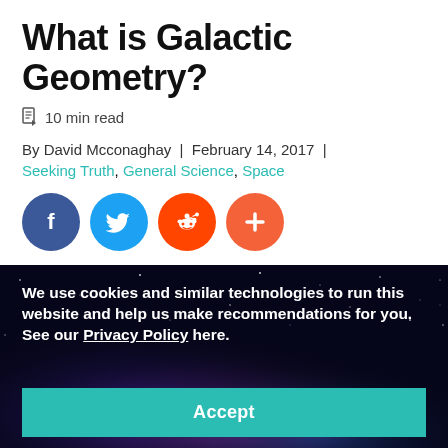What is Galactic Geometry?
📄 10 min read
By David Mcconaghay  |  February 14, 2017  |
Seeking Truth, General Science, Space
[Figure (infographic): Social share buttons: Facebook (dark blue circle with f), Twitter (light blue circle with bird), Reddit (orange circle with alien mascot), More/Add (salmon circle with plus sign)]
We use cookies and similar technologies to run this website and help us make recommendations for you. See our Privacy Policy here.
Accept